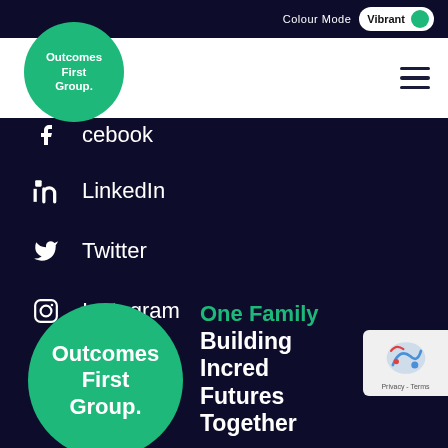Colour Mode Vibrant
[Figure (logo): Outcomes First Group circular green logo top left]
Facebook
LinkedIn
Twitter
Instagram
Youtube
[Figure (logo): Outcomes First Group circular green logo bottom]
One Family
Building Incredible Futures Together